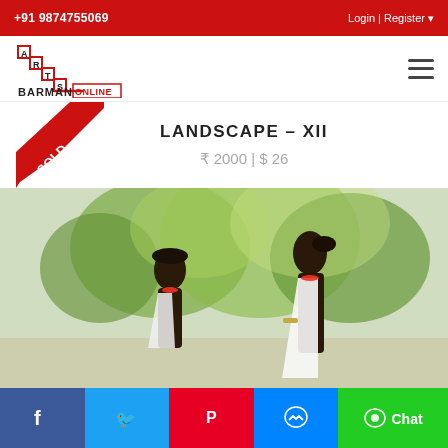+91 9874755069   Login | Register
[Figure (logo): Arts Barman Online logo with staircase design in red and black]
LANDSCAPE – XII
₹ 2000 | $ 26
[Figure (photo): Painting showing two African women in traditional dress against a green landscape background. A red 'SOLD' banner is overlaid on the image.]
Facebook | Twitter | Pinterest | Messenger | Chat